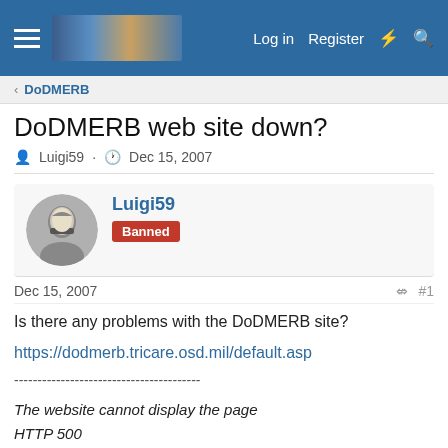DoDMERB forum site header with navigation: Log in, Register
DoDMERB
DoDMERB web site down?
Luigi59 · Dec 15, 2007
Luigi59
Banned
Dec 15, 2007  #1
Is there any problems with the DoDMERB site?

https://dodmerb.tricare.osd.mil/default.asp

----------------------------------------

The website cannot display the page
HTTP 500
Most likely causes: